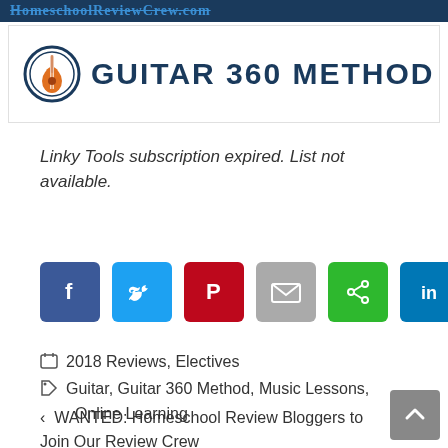[Figure (logo): Guitar 360 Method logo with guitar icon and bold text on white background, below a dark blue banner header with website text]
Linky Tools subscription expired. List not available.
[Figure (infographic): Social share buttons row: Facebook (blue), Twitter (light blue), Pinterest (red), Email (gray), Share (green), LinkedIn (dark blue)]
2018 Reviews, Electives
Guitar, Guitar 360 Method, Music Lessons, Online Learning
< WANTED: Homeschool Review Bloggers to Join Our Review Crew